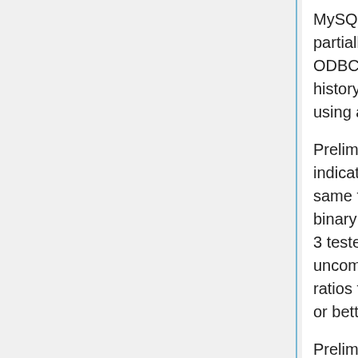MySQL is fully supported, Pgsql support is partially implemented, support for arbitrary ODBC drivers should be easy to add in history_sql and most SQL operations are done using an interface class.
Preliminary testing with MySQL and PgSQL indicates that disk space requirements are the same for both storage mechanisms using flat binary files or either of the 2 SQL databases. All 3 tested storage mechanisms store the data uncompressed. (Observed gzip-1 compression ratios from CERN-ALPHA history files are 50% or better).
Preliminary testing also indicates that MySQL database is "not too slow" for use by T2K/ND280 slow control system. Using MySQL, performance seems to